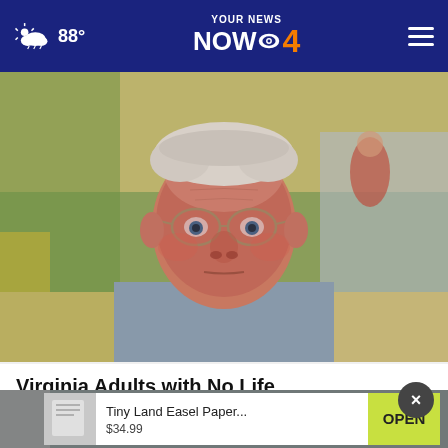YOUR NEWS NOW 4 — 88°
[Figure (photo): Elderly man with white hair, wearing glasses and a light blue blazer, looking at the camera in an indoor setting.]
Virginia Adults with No Life Insurance Get a $250k Policy for $18/month
Smart Lifestyle Trends
[Figure (screenshot): Advertisement overlay: Tiny Land Easel Paper... $34.99 with OPEN button in green, and a close (X) button in a dark circle.]